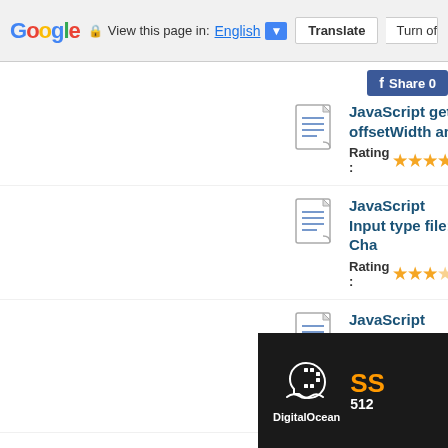Google | View this page in: English | Translate | Turn off for: T
JavaScript get offsetWidth and
Rating: ★★★★☆
JavaScript Input type file: Cha
Rating: ★★★☆☆
JavaScript Move Maximize Win JavaScript
Rating: ★★★☆☆
JavaScript visibility hidden & v
Rating: ★★★☆☆
CSS Page Break on Printing
Rating: ★★★★☆
[Figure (logo): DigitalOcean advertisement banner with logo and text SSD 512]